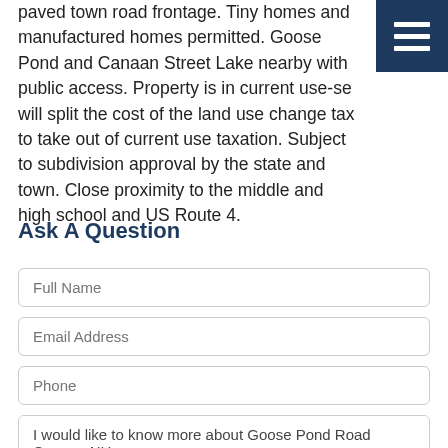paved town road frontage. Tiny homes and manufactured homes permitted. Goose Pond and Canaan Street Lake nearby with public access. Property is in current use-se will split the cost of the land use change tax to take out of current use taxation. Subject to subdivision approval by the state and town. Close proximity to the middle and high school and US Route 4.
Ask A Question
Full Name
Email Address
Phone
I would like to know more about Goose Pond Road Canaan NH